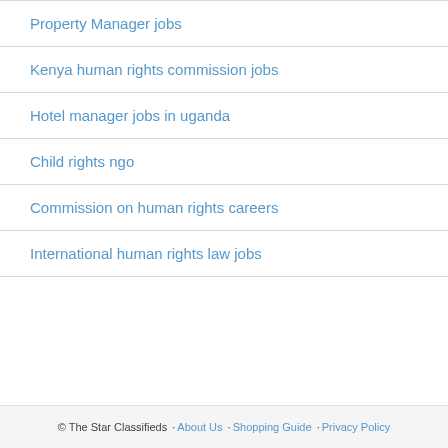Property Manager jobs
Kenya human rights commission jobs
Hotel manager jobs in uganda
Child rights ngo
Commission on human rights careers
International human rights law jobs
© The Star Classifieds ·About Us ·Shopping Guide ·Privacy Policy